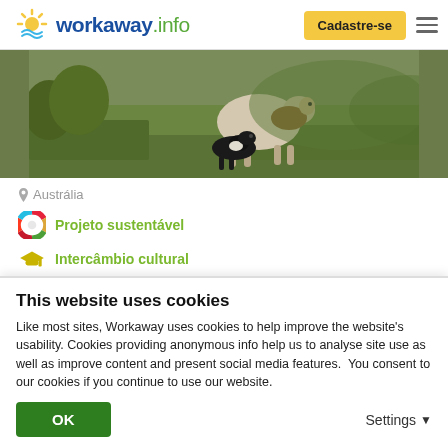workaway.info — Cadastre-se
[Figure (photo): A sheep grazing in a green field with a border collie dog nearby, outdoor farm/nature scene.]
Austrália
Projeto sustentável
Intercâmbio cultural
Come and help at our permaculture sanctuary in Kangaroo Valley, Australia
This website uses cookies
Like most sites, Workaway uses cookies to help improve the website's usability. Cookies providing anonymous info help us to analyse site use as well as improve content and present social media features.  You consent to our cookies if you continue to use our website.
OK   Settings